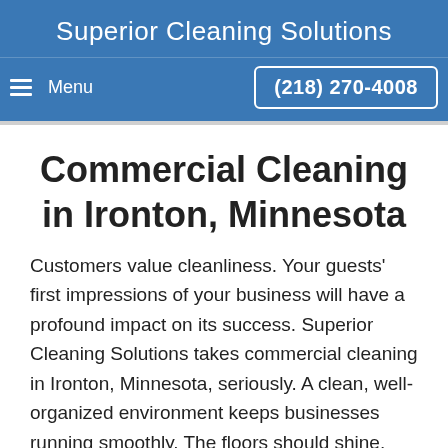Superior Cleaning Solutions
Menu  (218) 270-4008
Commercial Cleaning in Ironton, Minnesota
Customers value cleanliness. Your guests' first impressions of your business will have a profound impact on its success. Superior Cleaning Solutions takes commercial cleaning in Ironton, Minnesota, seriously. A clean, well-organized environment keeps businesses running smoothly. The floors should shine. The restrooms should not only look and smell clean but also be properly sanitized to keep employees healthy. Reception and common areas should always be prepared to welcome